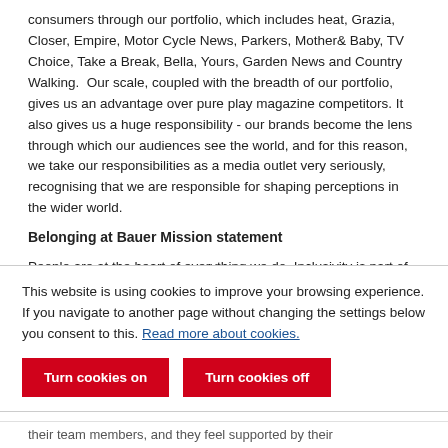consumers through our portfolio, which includes heat, Grazia, Closer, Empire, Motor Cycle News, Parkers, Mother& Baby, TV Choice, Take a Break, Bella, Yours, Garden News and Country Walking. Our scale, coupled with the breadth of our portfolio, gives us an advantage over pure play magazine competitors. It also gives us a huge responsibility - our brands become the lens through which our audiences see the world, and for this reason, we take our responsibilities as a media outlet very seriously, recognising that we are responsible for shaping perceptions in the wider world.
Belonging at Bauer Mission statement
People are at the heart of everything we do. Inclusivity is part of who we are. We celebrate diversity in all its forms, and
This website is using cookies to improve your browsing experience. If you navigate to another page without changing the settings below you consent to this. Read more about cookies.
Turn cookies on   Turn cookies off
their team members, and they feel supported by their